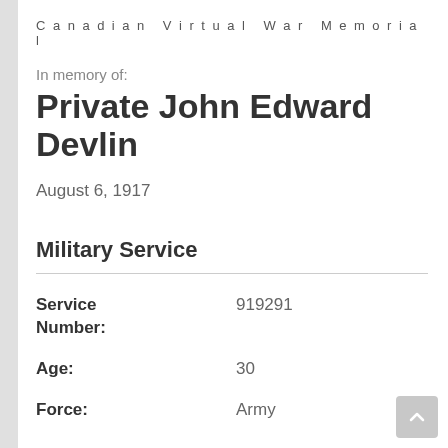Canadian Virtual War Memorial
In memory of:
Private John Edward Devlin
August 6, 1917
Military Service
| Field | Value |
| --- | --- |
| Service Number: | 919291 |
| Age: | 30 |
| Force: | Army |